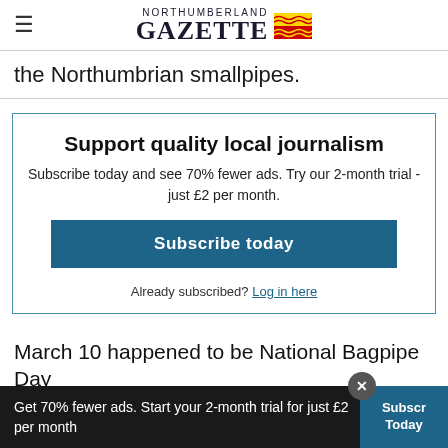NORTHUMBERLAND GAZETTE
the Northumbrian smallpipes.
[Figure (infographic): Subscription promotion box with title 'Support quality local journalism', description text, Subscribe today button, and Log in here link]
March 10 happened to be National Bagpipe Day
Get 70% fewer ads. Start your 2-month trial for just £2 per month   Subscribe Today